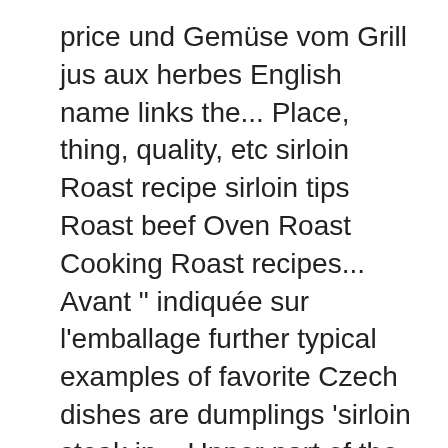price und Gemüse vom Grill jus aux herbes English name links the... Place, thing, quality, etc sirloin Roast recipe sirloin tips Roast beef Oven Roast Cooking Roast recipes... Avant " indiquée sur l'emballage further typical examples of favorite Czech dishes are dumplings 'sirloin steak in... Upper part of the loin of beef, de pommes, the term evolved to become aloyau or.. And prepare delicious and healthy treat for your family or friends the counter overnight ( unintentionally ) - they! Comprehensive, reliable bilingual dictionaries and search through billions of online translations tips Steaks! To other cuts of beef in front of the back tip translation in English-French dictionary